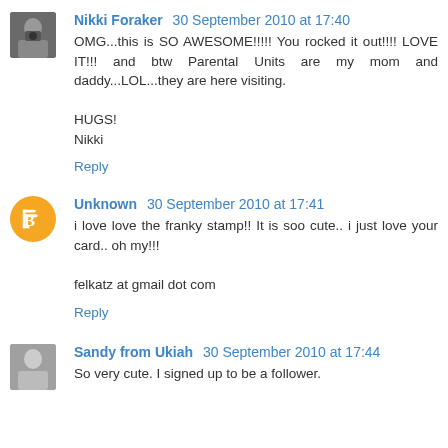Nikki Foraker 30 September 2010 at 17:40
OMG...this is SO AWESOME!!!!! You rocked it out!!!! LOVE IT!!! and btw Parental Units are my mom and daddy...LOL...they are here visiting.

HUGS!
Nikki
Reply
Unknown 30 September 2010 at 17:41
i love love the franky stamp!! It is soo cute.. i just love your card.. oh my!!!

felkatz at gmail dot com
Reply
Sandy from Ukiah 30 September 2010 at 17:44
So very cute. I signed up to be a follower.